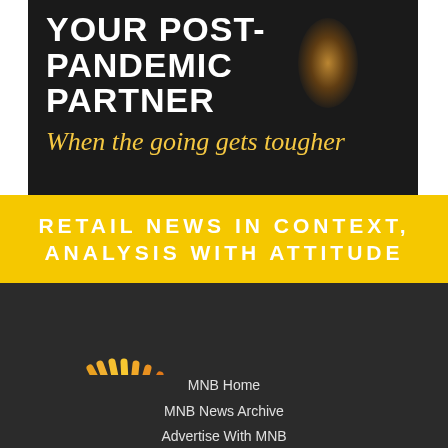[Figure (illustration): Dark-background advertisement banner with bold white text 'YOUR POST-PANDEMIC PARTNER' and italic yellow-gold text 'When the going gets tougher' with a warm light flare effect on dark background.]
RETAIL NEWS IN CONTEXT, ANALYSIS WITH ATTITUDE
[Figure (logo): Morning Newsbeat logo: a sunburst/fan of orange and yellow rays on the left, and bold white 'MORNING NEWSBEAT' text stacked on the right, on a dark charcoal background.]
MNB Home
MNB News Archive
Advertise With MNB